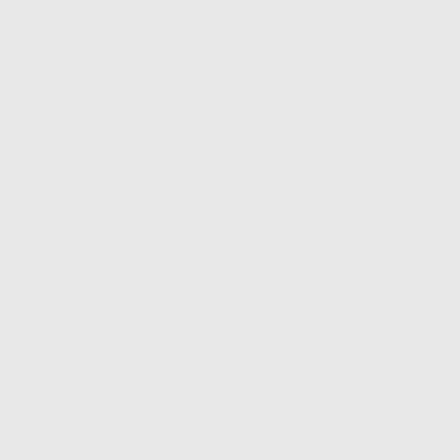albums o see myse Eidolon a piece of their reco have a n excited a Eidolon a through". I think a l the lack o happy pl very little albums c just go th some me However, experien songwriti with the s downs of just fails disagree